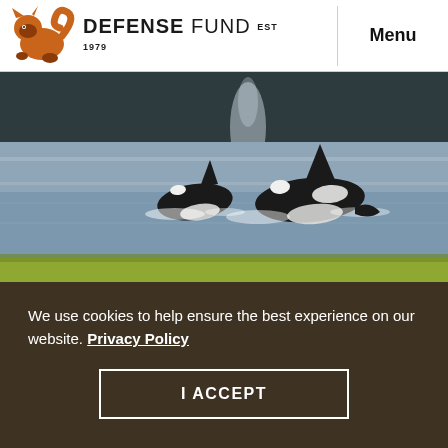DEFENSE FUND EST 1979 | Menu
[Figure (photo): Two orca whales swimming in calm blue-grey water with a spray of mist rising, forested hillside in background, bright green grass strip at bottom of frame.]
We use cookies to help ensure the best experience on our website. Privacy Policy
I ACCEPT